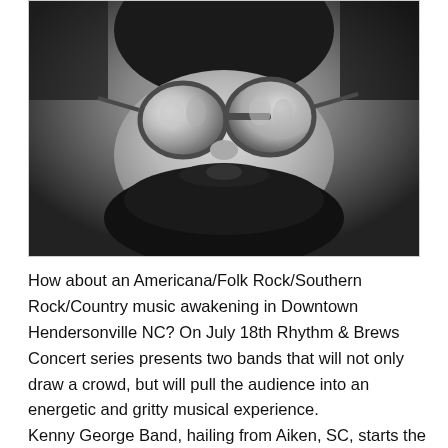[Figure (photo): Black and white close-up portrait photograph of a bearded man with glasses looking upward. The glasses reflect what appears to be trees and a parking area. The man has a large full beard and is wearing a dark hat.]
How about an Americana/Folk Rock/Southern Rock/Country music awakening in Downtown Hendersonville NC? On July 18th Rhythm & Brews Concert series presents two bands that will not only draw a crowd, but will pull the audience into an energetic and gritty musical experience.
Kenny George Band, hailing from Aiken, SC, starts the